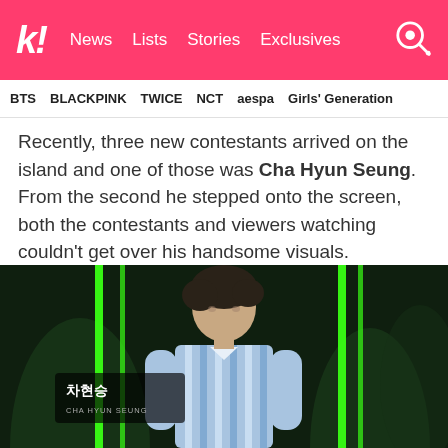k! News  Lists  Stories  Exclusives
BTS  BLACKPINK  TWICE  NCT  aespa  Girls' Generation
Recently, three new contestants arrived on the island and one of those was Cha Hyun Seung. From the second he stepped onto the screen, both the contestants and viewers watching couldn't get over his handsome visuals.
[Figure (photo): Cha Hyun Seung standing in front of a dark stage set with bright green neon light strips and tropical plant background. He is wearing a blue and white striped shirt. A name placard reads '차현승 / CHA HYUN SEUNG' in the lower left corner.]